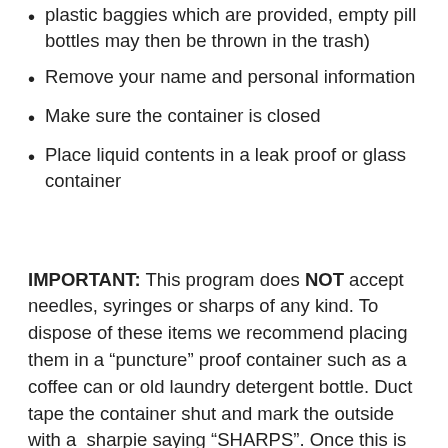plastic baggies which are provided, empty pill bottles may then be thrown in the trash)
Remove your name and personal information
Make sure the container is closed
Place liquid contents in a leak proof or glass container
IMPORTANT: This program does NOT accept needles, syringes or sharps of any kind. To dispose of these items we recommend placing them in a “puncture” proof container such as a coffee can or old laundry detergent bottle. Duct tape the container shut and mark the outside with a  sharpie saying “SHARPS”. Once this is done place the container in your garbage can, not the recycling.